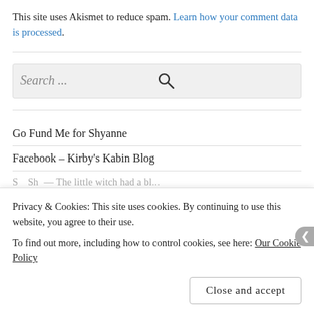This site uses Akismet to reduce spam. Learn how your comment data is processed.
Search ...
Go Fund Me for Shyanne
Facebook – Kirby's Kabin Blog
Privacy & Cookies: This site uses cookies. By continuing to use this website, you agree to their use. To find out more, including how to control cookies, see here: Our Cookie Policy
Close and accept